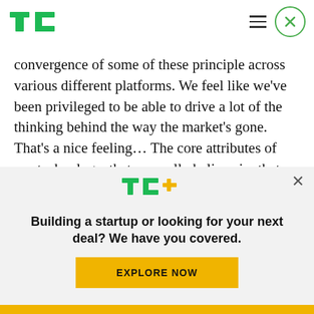TechCrunch logo, hamburger menu, close button
convergence of some of these principle across various different platforms. We feel like we’ve been privileged to be able to drive a lot of the thinking behind the way the market’s gone. That’s a nice feeling… The core attributes of our technology, that we really believe in, that we’ve been building for the last five, six years, we think are going to stand out.”
[Figure (logo): TechCrunch TC+ logo in green with orange plus sign]
Building a startup or looking for your next deal? We have you covered.
EXPLORE NOW